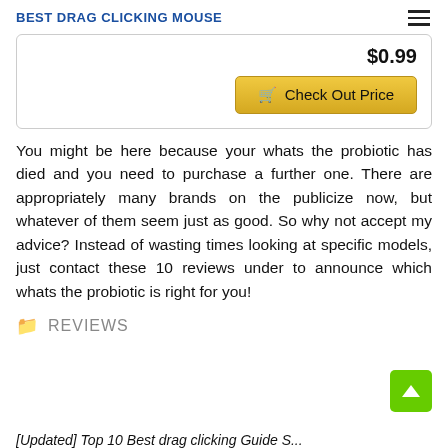BEST DRAG CLICKING MOUSE
$0.99
Check Out Price
You might be here because your whats the probiotic has died and you need to purchase a further one. There are appropriately many brands on the publicize now, but whatever of them seem just as good. So why not accept my advice? Instead of wasting times looking at specific models, just contact these 10 reviews under to announce which whats the probiotic is right for you!
REVIEWS